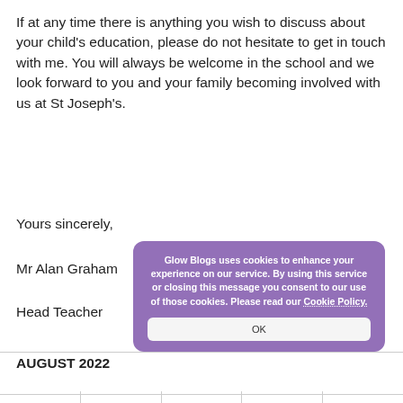If at any time there is anything you wish to discuss about your child's education, please do not hesitate to get in touch with me. You will always be welcome in the school and we look forward to you and your family becoming involved with us at St Joseph's.
Yours sincerely,
Mr Alan Graham
Head Teacher
[Figure (screenshot): Cookie consent popup overlay with purple background reading: 'Glow Blogs uses cookies to enhance your experience on our service. By using this service or closing this message you consent to our use of those cookies. Please read our Cookie Policy.' with an OK button.]
AUGUST 2022